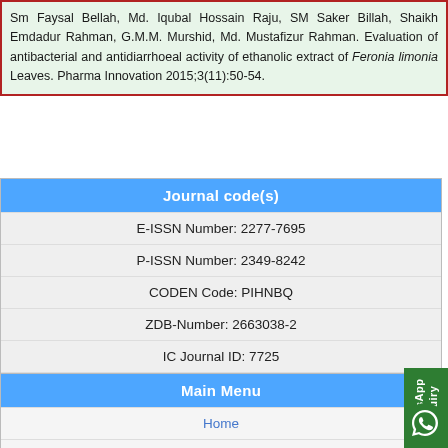Sm Faysal Bellah, Md. Iqubal Hossain Raju, SM Saker Billah, Shaikh Emdadur Rahman, G.M.M. Murshid, Md. Mustafizur Rahman. Evaluation of antibacterial and antidiarrhoeal activity of ethanolic extract of Feronia limonia Leaves. Pharma Innovation 2015;3(11):50-54.
| Journal code(s) |
| --- |
| E-ISSN Number: 2277-7695 |
| P-ISSN Number: 2349-8242 |
| CODEN Code: PIHNBQ |
| ZDB-Number: 2663038-2 |
| IC Journal ID: 7725 |
| Impact Factor: RJIF 5.98 |
Main Menu
Home
Editorial Board
Instructions
Archives